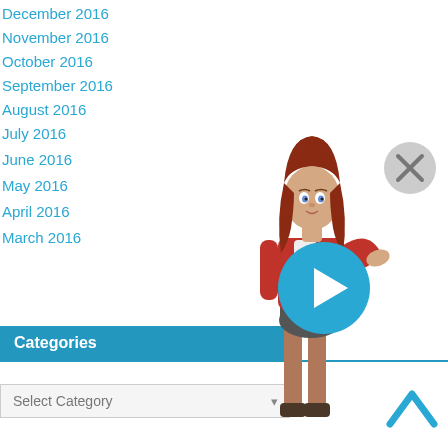December 2016
November 2016
October 2016
September 2016
August 2016
July 2016
June 2016
May 2016
April 2016
March 2016
Categories
[Figure (illustration): 3D animated female avatar with red hair, wearing red jacket and dark skirt, gesturing with right hand raised]
[Figure (other): Blue circular play button with white triangle]
[Figure (other): Grey circular close button with X symbol]
[Figure (other): Blue upward chevron/arrow button]
Select Category